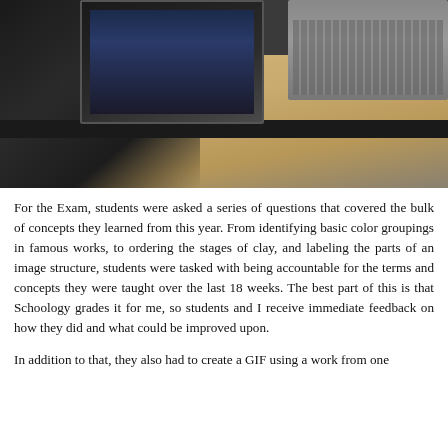[Figure (photo): Students working at laptops on a wooden table, viewed from above/behind. One student in dark clothing is on the left with a MacBook, another laptop and notebooks are visible on the right side.]
For the Exam, students were asked a series of questions that covered the bulk of concepts they learned from this year. From identifying basic color groupings in famous works, to ordering the stages of clay, and labeling the parts of an image structure, students were tasked with being accountable for the terms and concepts they were taught over the last 18 weeks. The best part of this is that Schoology grades it for me, so students and I receive immediate feedback on how they did and what could be improved upon.
In addition to that, they also had to create a GIF using a work from one